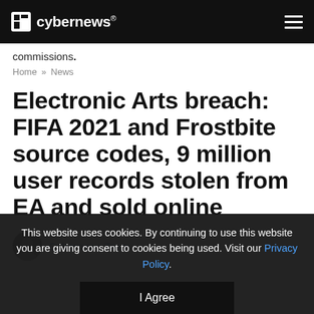cybernews®
commissions.
Home » News
Electronic Arts breach: FIFA 2021 and Frostbite source codes, 9 million user records stolen from EA and sold online
Cybernews Team
This website uses cookies. By continuing to use this website you are giving consent to cookies being used. Visit our Privacy Policy.
I Agree